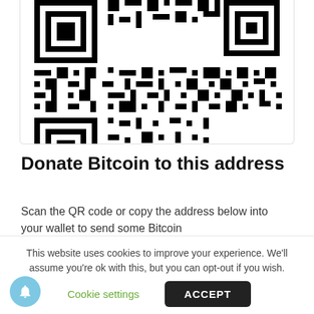[Figure (other): QR code for Bitcoin donation address 3J5Y7wgsZYFciSdagE1, partially visible at top of page]
Donate Bitcoin to this address
Scan the QR code or copy the address below into your wallet to send some Bitcoin
3J5Y7wgsZYFciSdagE1
This website uses cookies to improve your experience. We'll assume you're ok with this, but you can opt-out if you wish.
Cookie settings
ACCEPT